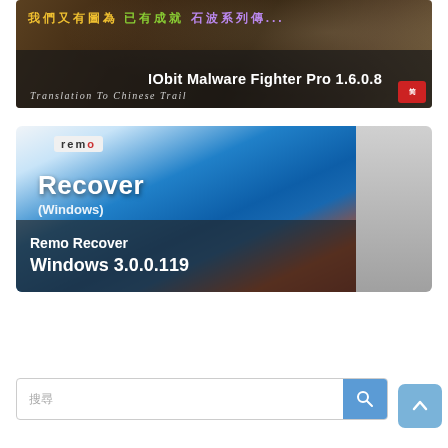[Figure (screenshot): Thumbnail card for IObit Malware Fighter Pro 1.6.0.8, showing a dark background with Chinese text in yellow/green/purple, and a dark overlay with the title text in white. A red Chinese stamp icon appears bottom-right.]
IObit Malware Fighter Pro 1.6.0.8
[Figure (screenshot): Thumbnail card for Remo Recover Windows 3.0.0.119, showing the Remo software box art with blue gradient and the product name, with a dark overlay on the bottom containing the title text.]
Remo Recover Windows 3.0.0.119